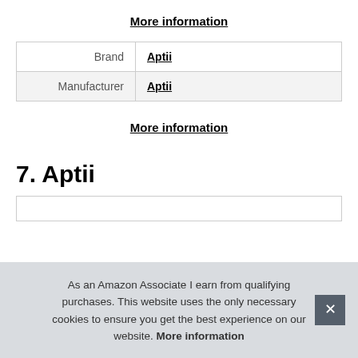More information
| Brand | Aptii |
| Manufacturer | Aptii |
More information
7. Aptii
As an Amazon Associate I earn from qualifying purchases. This website uses the only necessary cookies to ensure you get the best experience on our website. More information